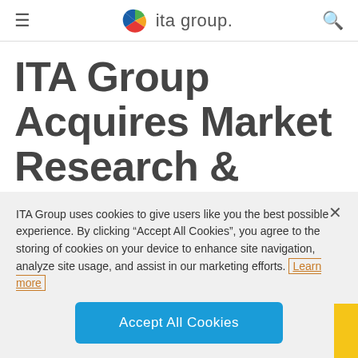ita group.
ITA Group Acquires Market Research & Strategy Leader
ITA Group uses cookies to give users like you the best possible experience. By clicking “Accept All Cookies”, you agree to the storing of cookies on your device to enhance site navigation, analyze site usage, and assist in our marketing efforts. Learn more
Accept All Cookies